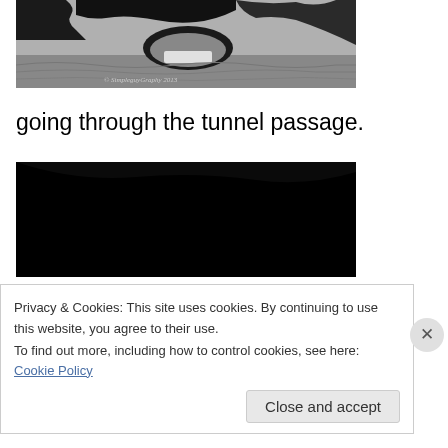[Figure (photo): Black and white photograph of a cave/tunnel passage with water in the foreground and rocky cliff formations. Copyright watermark reads '© SimpleguyGraphy 2013']
going through the tunnel passage.
[Figure (photo): Mostly black/dark photograph (second image in series, content not visible)]
Privacy & Cookies: This site uses cookies. By continuing to use this website, you agree to their use.
To find out more, including how to control cookies, see here: Cookie Policy